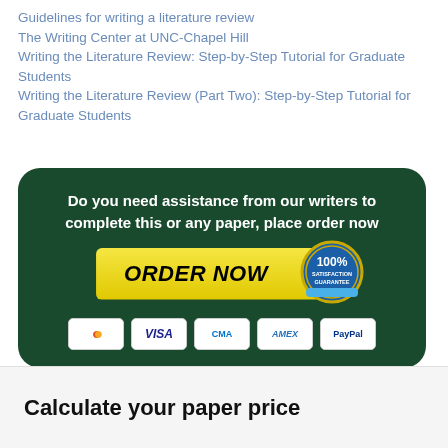Guidelines for writing a literature review
The Writing Center at UNC-Chapel Hill
Writing the Literature Review: Step-by-Step Tutorial for Graduate Students
Writing the Literature Review (Part Two): Step-by-Step Tutorial for Graduate Students
[Figure (infographic): Dark green rounded rectangle banner with white bold text reading 'Do you need assistance from our writers to complete this or any paper, place order now', a yellow diagonal ORDER NOW button with a 100% satisfaction guarantee seal, and payment icons: Mastercard, VISA, CMA, AMEX, PayPal]
Calculate your paper price